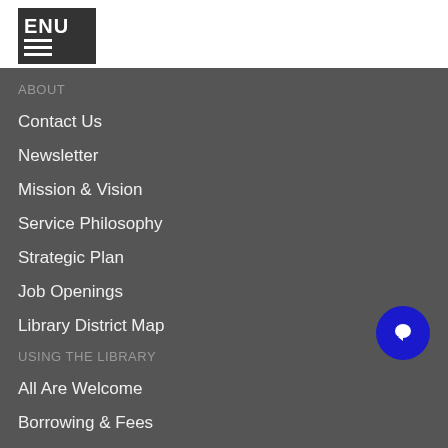[Figure (screenshot): Navigation menu button with 'ENU' text and hamburger icon lines on dark background]
ABOUT
Contact Us
Newsletter
Mission & Vision
Service Philosophy
Strategic Plan
Job Openings
Library District Map
USING THE LIBRARY
All Are Welcome
Borrowing & Fees
COVID-19 Update
Get a Card